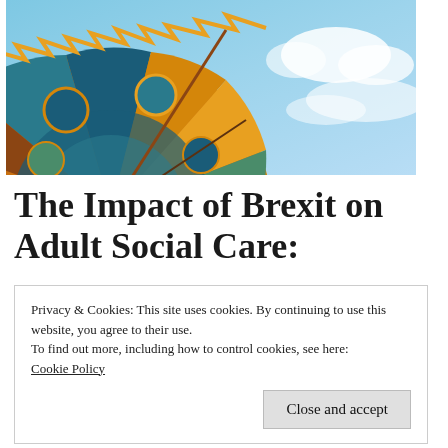[Figure (photo): A colorful decorated circular canopy or parasol with intricate patterns in blue, gold, green, and orange against a blue sky with white clouds.]
The Impact of Brexit on Adult Social Care:
Privacy & Cookies: This site uses cookies. By continuing to use this website, you agree to their use.
To find out more, including how to control cookies, see here:
Cookie Policy
Close and accept